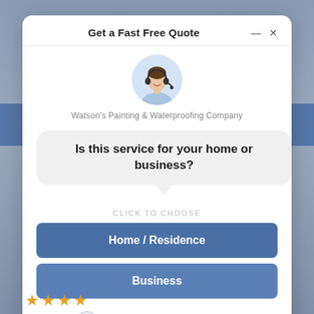Get a Fast Free Quote
[Figure (illustration): Customer service representative with headset, shown from shoulders up]
Watson's Painting & Waterproofing Company
Is this service for your home or business?
CLICK TO CHOOSE
Home / Residence
Business
1,874 people requested a quote!